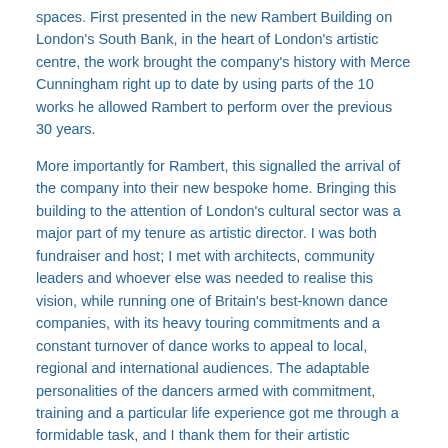spaces. First presented in the new Rambert Building on London's South Bank, in the heart of London's artistic centre, the work brought the company's history with Merce Cunningham right up to date by using parts of the 10 works he allowed Rambert to perform over the previous 30 years.
More importantly for Rambert, this signalled the arrival of the company into their new bespoke home. Bringing this building to the attention of London's cultural sector was a major part of my tenure as artistic director. I was both fundraiser and host; I met with architects, community leaders and whoever else was needed to realise this vision, while running one of Britain's best-known dance companies, with its heavy touring commitments and a constant turnover of dance works to appeal to local, regional and international audiences. The adaptable personalities of the dancers armed with commitment, training and a particular life experience got me through a formidable task, and I thank them for their artistic inspiration.
Haydn: The Creation that I choreographed to celebrate Rambert's 90th birthday, in collaboration with Rambert, Garsington Opera, the Rambert School and the Rambert Orchestra is a personal highlight – you can see it on BBC's The Space (www.thespace.org). I had many other highlights during my time as artistic director of Rambert, including the opportunity to choreograph once every two years on